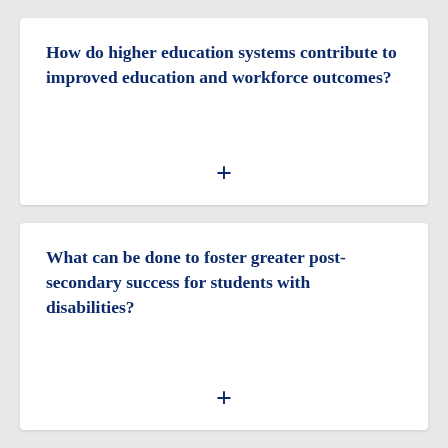How do higher education systems contribute to improved education and workforce outcomes?
What can be done to foster greater post-secondary success for students with disabilities?